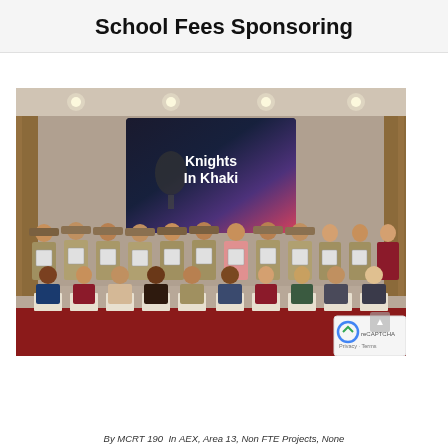School Fees Sponsoring
[Figure (photo): Group photo of police officers in khaki uniforms and civilians at a 'Knights In Khaki' event, holding plaques/awards, seated and standing in rows in a banquet hall]
By MCRT 190  In AEX, Area 13, Non FTE Projects, None